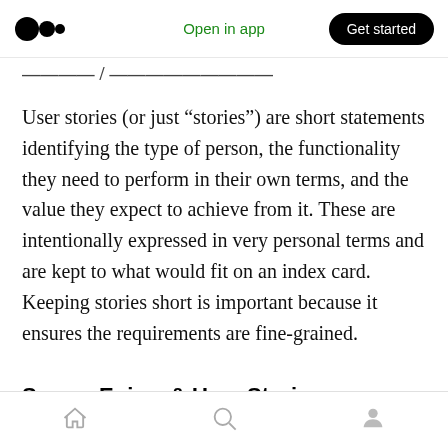Medium logo | Open in app | Get started
Social Value Statement
User stories (or just “stories”) are short statements identifying the type of person, the functionality they need to perform in their own terms, and the value they expect to achieve from it. These are intentionally expressed in very personal terms and are kept to what would fit on an index card. Keeping stories short is important because it ensures the requirements are fine-grained.
Sagas, Epics, & User Stories
Home | Search | Profile